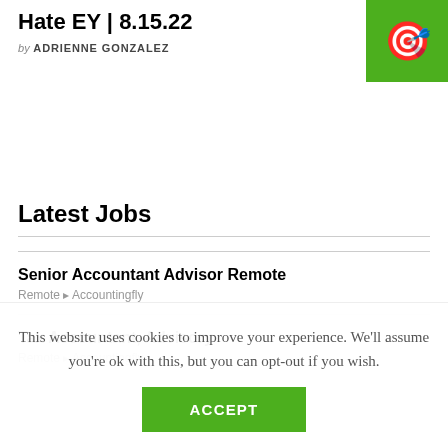Hate EY | 8.15.22
by ADRIENNE GONZALEZ
Latest Jobs
Senior Accountant Advisor Remote
Remote • Accountingfly
Tax Accountant, Advisory
Remote • Accountingfly
This website uses cookies to improve your experience. We'll assume you're ok with this, but you can opt-out if you wish.
ACCEPT